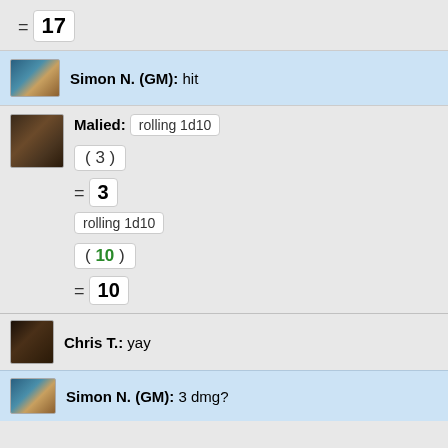= 17
Simon N. (GM): hit
Malied: rolling 1d10 ( 3 ) = 3 rolling 1d10 ( 10 ) = 10
Chris T.: yay
Simon N. (GM): 3 dmg?